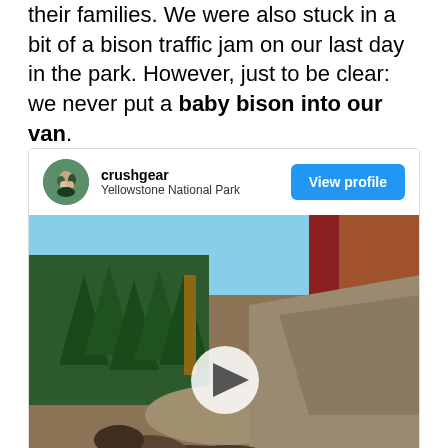their families. We were also stuck in a bit of a bison traffic jam on our last day in the park. However, just to be clear: we never put a baby bison into our van.
[Figure (screenshot): Instagram-style social media card showing user 'crushgear' at Yellowstone National Park with a View profile button and a video thumbnail showing trees, rocky terrain, and what appears to be a bison with a play button overlay.]